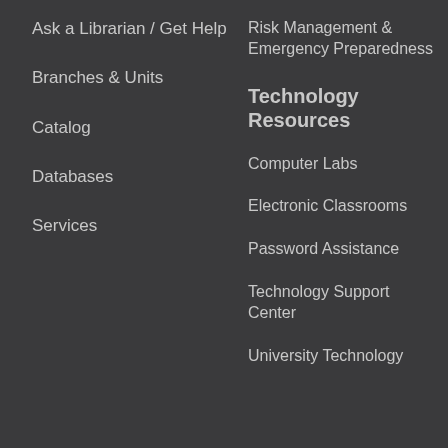Ask a Librarian / Get Help
Branches & Units
Catalog
Databases
Services
Risk Management & Emergency Preparedness
Technology Resources
Computer Labs
Electronic Classrooms
Password Assistance
Technology Support Center
University Technology